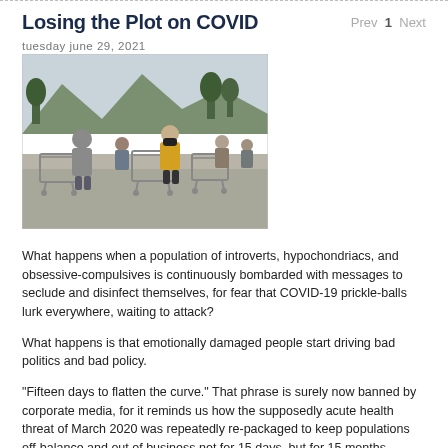Losing the Plot on COVID
tuesday june 29, 2021
[Figure (photo): Crowd of people with shopping carts waiting in line outdoors, some wearing masks, with trees and mountains in background.]
What happens when a population of introverts, hypochondriacs, and obsessive-compulsives is continuously bombarded with messages to seclude and disinfect themselves, for fear that COVID-19 prickle-balls lurk everywhere, waiting to attack?
What happens is that emotionally damaged people start driving bad politics and bad policy.
"Fifteen days to flatten the curve." That phrase is surely now banned by corporate media, for it reminds us how the supposedly acute health threat of March 2020 was repeatedly re-packaged to keep populations off-balance and out of business not for 15 days, but for 15 months.